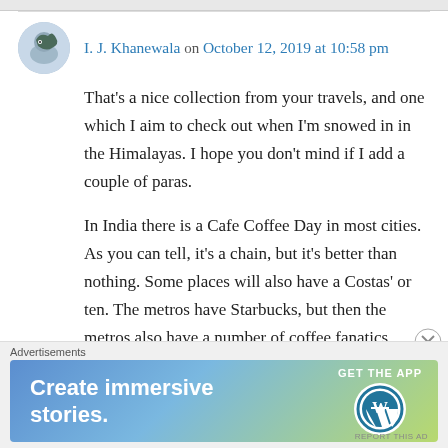I. J. Khanewala on October 12, 2019 at 10:58 pm
That's a nice collection from your travels, and one which I aim to check out when I'm snowed in in the Himalayas. I hope you don't mind if I add a couple of paras.
In India there is a Cafe Coffee Day in most cities. As you can tell, it's a chain, but it's better than nothing. Some places will also have a Costas' or ten. The metros have Starbucks, but then the metros also have a number of coffee fanatics
Advertisements
[Figure (infographic): WordPress advertisement banner: 'Create immersive stories. GET THE APP' with WordPress logo on gradient blue-green background.]